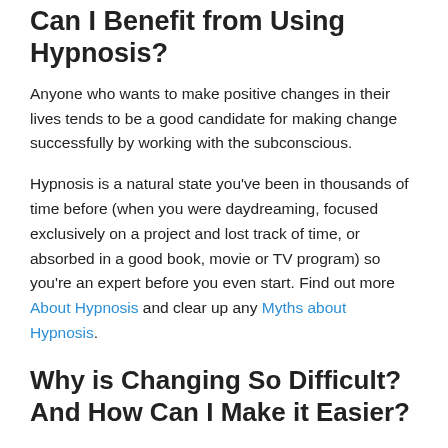Can I Benefit from Using Hypnosis?
Anyone who wants to make positive changes in their lives tends to be a good candidate for making change successfully by working with the subconscious.
Hypnosis is a natural state you've been in thousands of time before (when you were daydreaming, focused exclusively on a project and lost track of time, or absorbed in a good book, movie or TV program) so you're an expert before you even start. Find out more About Hypnosis and clear up any Myths about Hypnosis.
Why is Changing So Difficult? And How Can I Make it Easier?
Many of the actions we perform and the ways that we think are deeper rooted than we first realise. Imagine a weed in the middle of...